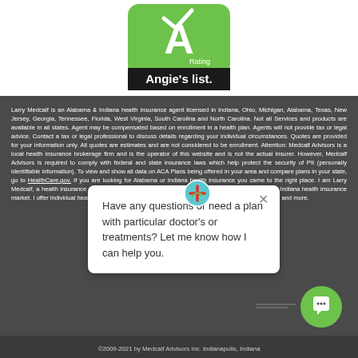[Figure (logo): Angie's List logo with green speech bubble containing letter A and Rating label, black bar with Angie's list text]
Larry Medcalf is an Alabama & Indiana health insurance agent licensed in Indiana, Ohio, Michigan, Alabama, Texas, New Jersey, Georgia, Tennessee, Florida, West Virginia, South Carolina and North Carolina. Not all Services and products are available in all states. Agent may be compensated based on enrollment in a health plan. Agents will not provide tax or legal advice. Contact a tax or legal professional to discuss details regarding your individual circumstances. Quotes are provided for your information only. All quotes are estimates and are not considered to be enrollment. Attention: Medcalf Advisors is a local health insurance brokerage firm and is the operator of this website and is not the actual insurer. However, Medcalf Advisors is required to comply with federal and state insurance laws which help protect the security of PII (personally identifiable information). To view and show all data on ACA Plans being offered in your area and compare plans in your state, go to HealthCare.gov. If you are looking for Alabama or Indiana health insurance you came to the right place. I am Larry Medcalf, a health insurance agent with almost 20 years of insurance experience in the Alabama & Indiana health insurance market. I offer individual health insurance, vision insurance, long term insurance, disability insurance and more.
[Figure (screenshot): Chat popup widget with text: Have any questions or need a plan with particular doctor's or treatments? Let me know how I can help you.]
©2009-2021 by Medcalf Advisors Inc. Indianapolis, Indiana